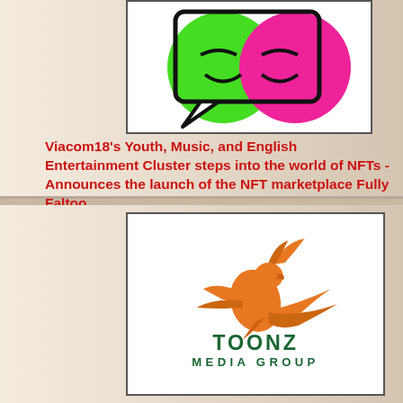[Figure (logo): Fully Faltoo NFT marketplace logo with green and pink speech bubble circles and a black chat bubble outline on white background]
Viacom18's Youth, Music, and English Entertainment Cluster steps into the world of NFTs - Announces the launch of the NFT marketplace Fully Faltoo
[Figure (logo): Toonz Media Group logo featuring an orange flying bird/phoenix above the text TOONZ MEDIA GROUP in dark green]